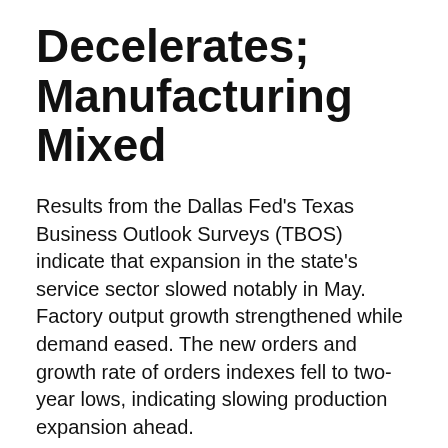Decelerates; Manufacturing Mixed
Results from the Dallas Fed's Texas Business Outlook Surveys (TBOS) indicate that expansion in the state's service sector slowed notably in May. Factory output growth strengthened while demand eased. The new orders and growth rate of orders indexes fell to two-year lows, indicating slowing production expansion ahead.
In May, the sentiment-based general business activity index for manufacturing turned negative for the first time since July 2020. The service sector index fell to a near-zero reading, meaning service firms were